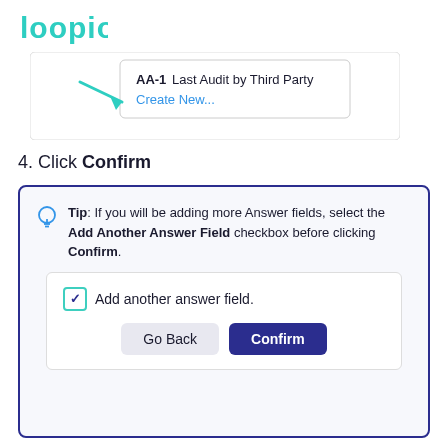[Figure (logo): Loopio logo in teal/green color]
[Figure (screenshot): UI screenshot showing a dropdown with 'AA-1 Last Audit by Third Party' option and a 'Create New...' link, with a green arrow pointing to Create New...]
4. Click Confirm
Tip: If you will be adding more Answer fields, select the Add Another Answer Field checkbox before clicking Confirm.
[Figure (screenshot): UI mockup showing 'Add another answer field.' checkbox (checked) and two buttons: 'Go Back' and 'Confirm']